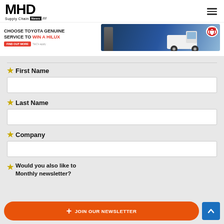MHD Supply Chain News
[Figure (illustration): Toyota advertisement banner - Choose Toyota Genuine Service to Win a Hilux, with truck image and Toyota logo]
* First Name
* Last Name
* Company
* Would you also like to receive MHD Magazine Monthly newsletter?
[Figure (infographic): Join Our Newsletter orange button with blue scroll-to-top button]